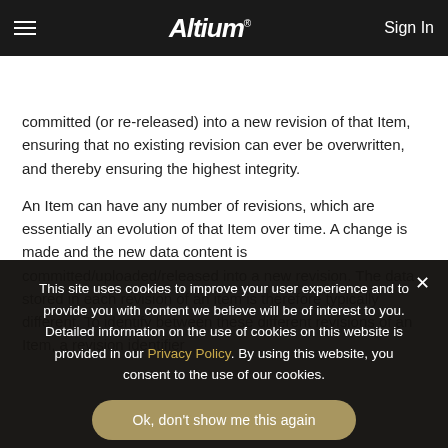Altium | Sign In
ALTIUM NEXUS DOCUMENTATION — 3.0
committed (or re-released) into a new revision of that Item, ensuring that no existing revision can ever be overwritten, and thereby ensuring the highest integrity.
An Item can have any number of revisions, which are essentially an evolution of that Item over time. A change is made and the new data content is committed/uploaded/released into a new revision. The data stored in each revision of an item is therefore typically different. To identify between these different revisions of an Item, a revision identifier
This site uses cookies to improve your user experience and to provide you with content we believe will be of interest to you. Detailed information on the use of cookies on this website is provided in our Privacy Policy. By using this website, you consent to the use of our cookies.
Ok, don't show me this again